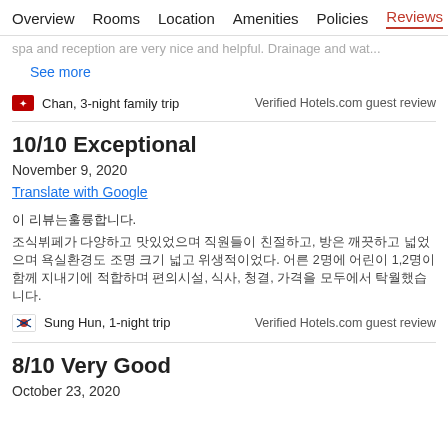Overview  Rooms  Location  Amenities  Policies  Reviews
spa and reception are very nice and helpful. Drainage and wat...
See more
Chan, 3-night family trip    Verified Hotels.com guest review
10/10 Exceptional
November 9, 2020
Translate with Google
이 리뷰는훌륭합니다.
조식뷔페가 다양하고 맛있었으며 직원들이 친절하고, 방은 깨끗하고 넓 었으며 욕실환경도 조명 크기 넓고 위생적이었다. 어 른 2명에 어린이 1,2명이 함께 지내기에 적합하며 편의시설, 식사, 청결, 가격을 모두에서 탁월했습니다.
Sung Hun, 1-night trip    Verified Hotels.com guest review
8/10 Very Good
October 23, 2020